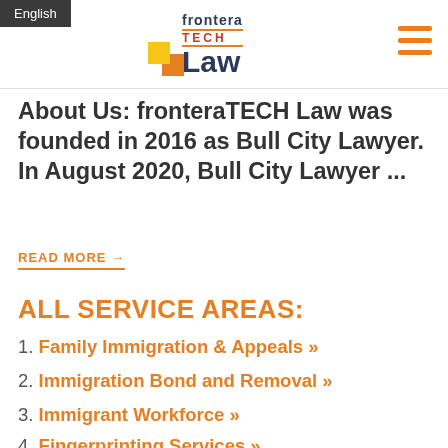English
[Figure (logo): Frontera TECH Law logo with two overlapping colored squares (yellow and orange) beside stylized text reading 'frontera TECH Law' in navy and red]
About Us: fronteraTECH Law was founded in 2016 as Bull City Lawyer. In August 2020, Bull City Lawyer ...
READ MORE →
ALL SERVICE AREAS:
1. Family Immigration & Appeals »
2. Immigration Bond and Removal »
3. Immigrant Workforce »
4. Fingerprinting Services »